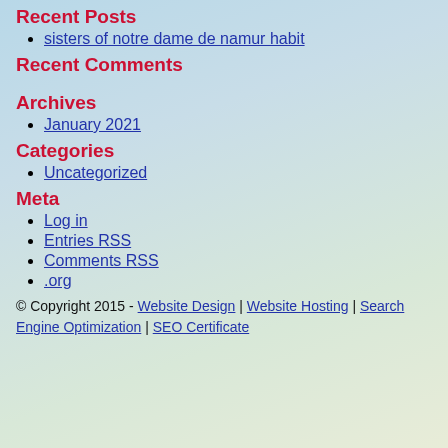Recent Posts
sisters of notre dame de namur habit
Recent Comments
Archives
January 2021
Categories
Uncategorized
Meta
Log in
Entries RSS
Comments RSS
.org
© Copyright 2015 - Website Design | Website Hosting | Search Engine Optimization | SEO Certificate